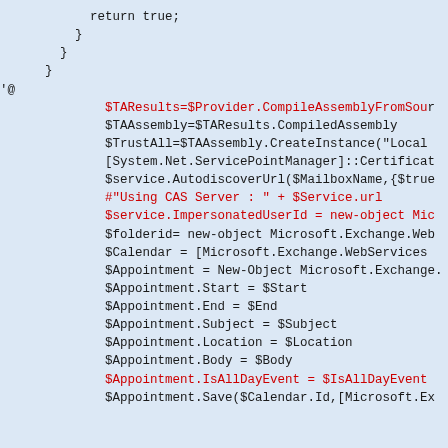Code snippet showing PowerShell/C# code with return true, closing braces, '@' string delimiter, and Exchange Web Services API calls including CompileAssemblyFromSource, CompiledAssembly, CreateInstance, ServicePointManager, AutodiscoverUrl, ImpersonatedUserId, folderid, Calendar, Appointment creation with Start, End, Subject, Location, Body, IsAllDayEvent, and Save.